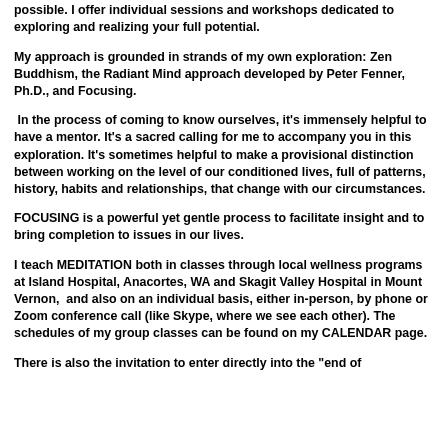possible. I offer individual sessions and workshops dedicated to exploring and realizing your full potential.
My approach is grounded in strands of my own exploration: Zen Buddhism, the Radiant Mind approach developed by Peter Fenner, Ph.D., and Focusing.
In the process of coming to know ourselves, it's immensely helpful to have a mentor. It's a sacred calling for me to accompany you in this exploration. It's sometimes helpful to make a provisional distinction between working on the level of our conditioned lives, full of patterns, history, habits and relationships, that change with our circumstances.
FOCUSING is a powerful yet gentle process to facilitate insight and to bring completion to issues in our lives.
I teach MEDITATION both in classes through local wellness programs at Island Hospital, Anacortes, WA and Skagit Valley Hospital in Mount Vernon,  and also on an individual basis, either in-person, by phone or Zoom conference call (like Skype, where we see each other). The schedules of my group classes can be found on my CALENDAR page.
There is also the invitation to enter directly into the "end of circumstances...